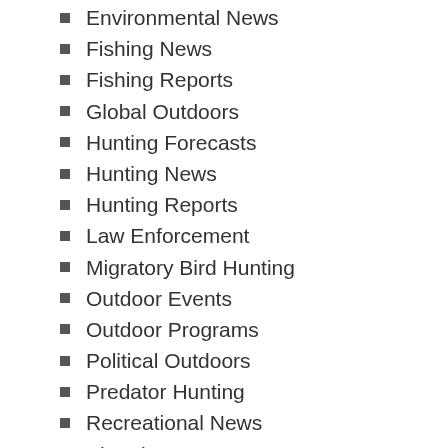Environmental News
Fishing News
Fishing Reports
Global Outdoors
Hunting Forecasts
Hunting News
Hunting Reports
Law Enforcement
Migratory Bird Hunting
Outdoor Events
Outdoor Programs
Political Outdoors
Predator Hunting
Recreational News
Shooting News
Small Game Hunting
Trapping News